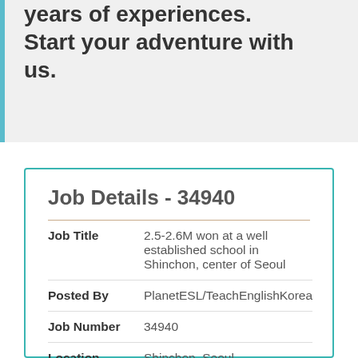years of experiences. Start your adventure with us.
Job Details - 34940
| Field | Value |
| --- | --- |
| Job Title | 2.5-2.6M won at a well established school in Shinchon, center of Seoul |
| Posted By | PlanetESL/TeachEnglishKorea |
| Job Number | 34940 |
| Location | Shinchon, Seoul |
Contract Information: